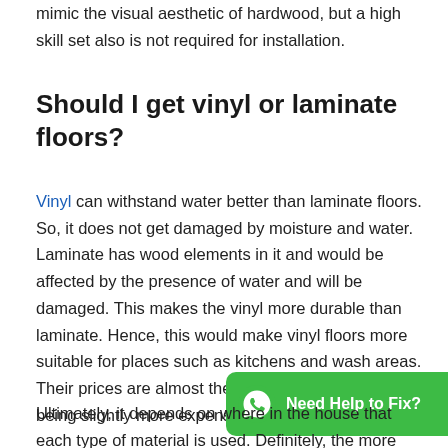mimic the visual aesthetic of hardwood, but a high skill set also is not required for installation.
Should I get vinyl or laminate floors?
Vinyl can withstand water better than laminate floors. So, it does not get damaged by moisture and water. Laminate has wood elements in it and would be affected by the presence of water and will be damaged. This makes the vinyl more durable than laminate. Hence, this would make vinyl floors more suitable for places such as kitchens and wash areas. Their prices are almost the same with luxury vinyl being slightly more expensive.
Ultimately, it depends on where in the house that each type of material is used. Definitely, the more moisture-prone areas...